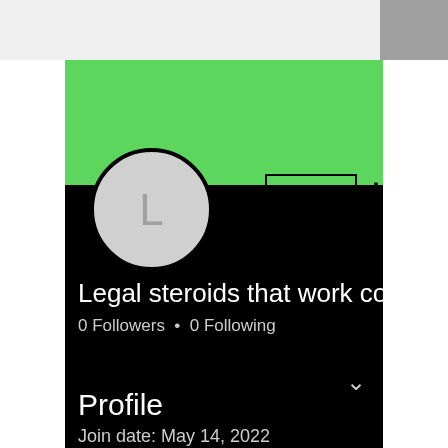[Figure (screenshot): Social media profile page screenshot. Green banner header, black profile body, circular avatar with letter L, Follow button, three-dot menu, username 'Legal steroids that work com...', 0 Followers, 0 Following, Profile section with join date May 14, 2022, and partial About section.]
Legal steroids that work com…
0 Followers • 0 Following
Profile
Join date: May 14, 2022
About